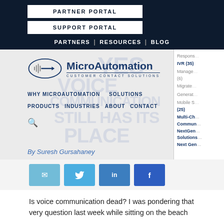PARTNER PORTAL
SUPPORT PORTAL
PARTNERS | RESOURCES | BLOG
[Figure (logo): MicroAutomation Customer Contact Solutions logo with oval sound-wave icon]
WHY MICROAUTOMATION   SOLUTIONS
PRODUCTS   INDUSTRIES   ABOUT   CONTACT
By Suresh Gursahaney
[Figure (infographic): Social share buttons: email, Twitter, LinkedIn, Facebook]
Is voice communication dead? I was pondering that very question last week while sitting on the beach